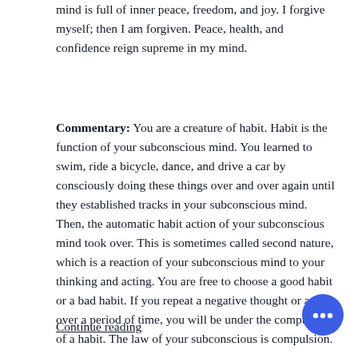mind is full of inner peace, freedom, and joy. I forgive myself; then I am forgiven. Peace, health, and confidence reign supreme in my mind.
Commentary: You are a creature of habit. Habit is the function of your subconscious mind. You learned to swim, ride a bicycle, dance, and drive a car by consciously doing these things over and over again until they established tracks in your subconscious mind. Then, the automatic habit action of your subconscious mind took over. This is sometimes called second nature, which is a reaction of your subconscious mind to your thinking and acting. You are free to choose a good habit or a bad habit. If you repeat a negative thought or act over a period of time, you will be under the compulsion of a habit. The law of your subconscious is compulsion.
Continue reading